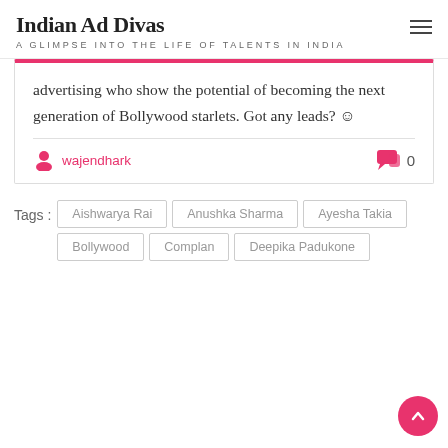Indian Ad Divas — A GLIMPSE INTO THE LIFE OF TALENTS IN INDIA
advertising who show the potential of becoming the next generation of Bollywood starlets. Got any leads? ☺
wajendhark  0 comments
Tags : Aishwarya Rai  Anushka Sharma  Ayesha Takia  Bollywood  Complan  Deepika Padukone